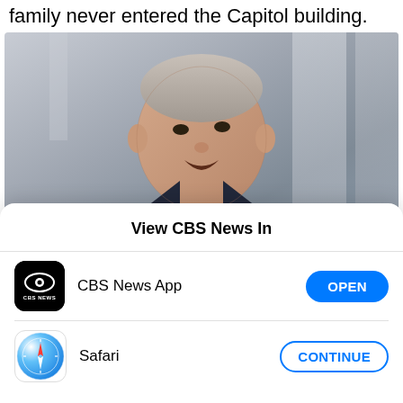family never entered the Capitol building.
[Figure (photo): Man in dark suit with gold/yellow tie speaking, photographed from a low angle against a light marble background. Middle-aged man with short gray-white hair.]
View CBS News In
[Figure (logo): CBS News app icon: black rounded square with CBS eye logo and 'CBS NEWS' text in white]
CBS News App
OPEN
[Figure (logo): Safari browser icon: compass rose on blue/white gradient background]
Safari
CONTINUE